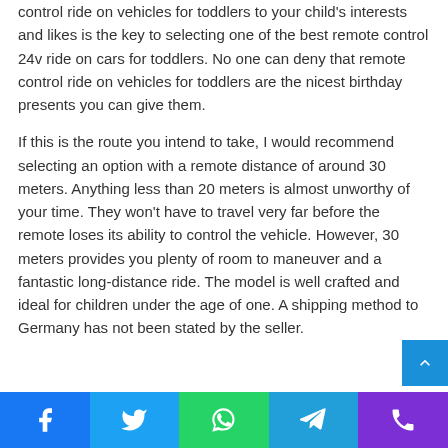control ride on vehicles for toddlers to your child's interests and likes is the key to selecting one of the best remote control 24v ride on cars for toddlers. No one can deny that remote control ride on vehicles for toddlers are the nicest birthday presents you can give them.
If this is the route you intend to take, I would recommend selecting an option with a remote distance of around 30 meters. Anything less than 20 meters is almost unworthy of your time. They won't have to travel very far before the remote loses its ability to control the vehicle. However, 30 meters provides you plenty of room to maneuver and a fantastic long-distance ride. The model is well crafted and ideal for children under the age of one. A shipping method to Germany has not been stated by the seller.